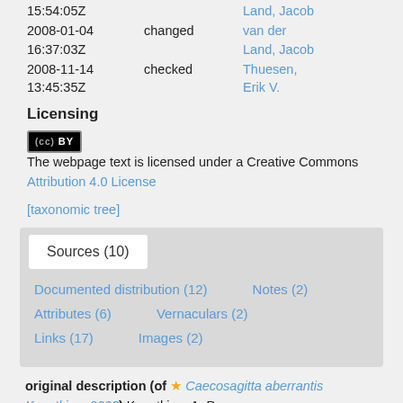15:54:05Z
Land, Jacob
2008-01-04
16:37:03Z
changed
van der
Land, Jacob
2008-11-14
13:45:35Z
checked
Thuesen, Erik V.
Licensing
The webpage text is licensed under a Creative Commons Attribution 4.0 License
[taxonomic tree]
Sources (10)
Documented distribution (12)
Notes (2)
Attributes (6)
Vernaculars (2)
Links (17)
Images (2)
original description (of ★ Caecosagitta aberrantis Kasatkina, 2003) Kasatkina, A. P.